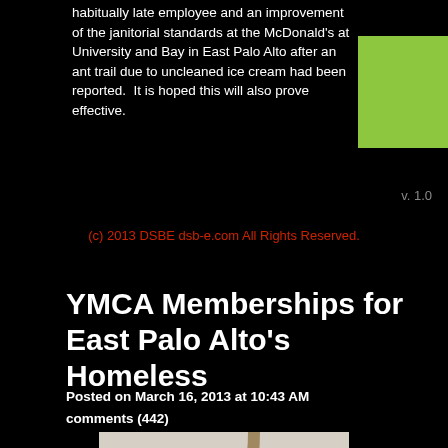habitually late employee and an improvement of the janitorial standards at the McDonald's at University and Bay in East Palo Alto after an ant trail due to uncleaned ice cream had been reported.  It is hoped this will also prove effective.
v. 1.0
(c) 2013 DSBE dsb-e.com All Rights Reserved.
YMCA Memberships for East Palo Alto's Homeless
Posted on March 16, 2013 at 10:43 AM
comments (442)
[Figure (photo): Close-up photo of a shower head with water or foam, tile visible in background]